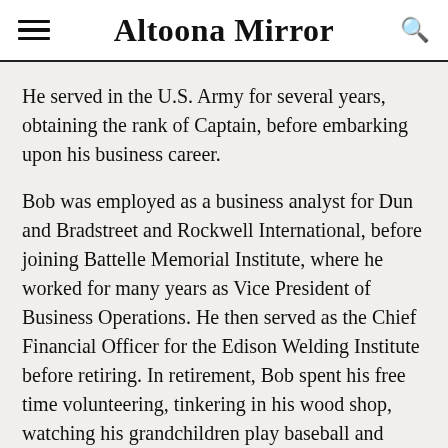Altoona Mirror
He served in the U.S. Army for several years, obtaining the rank of Captain, before embarking upon his business career.
Bob was employed as a business analyst for Dun and Bradstreet and Rockwell International, before joining Battelle Memorial Institute, where he worked for many years as Vice President of Business Operations. He then served as the Chief Financial Officer for the Edison Welding Institute before retiring. In retirement, Bob spent his free time volunteering, tinkering in his wood shop, watching his grandchildren play baseball and indulging in his love for classic cars.